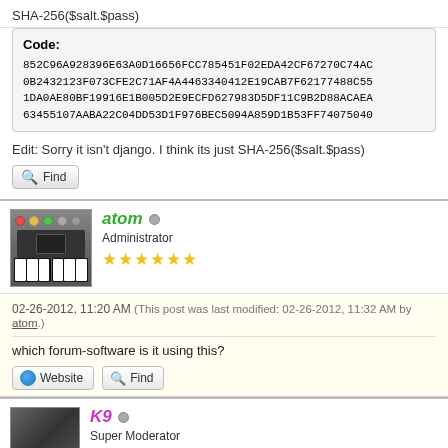SHA-256($salt.$pass)
Code:
852C96A928396E63A0D16656FCC785451F02EDA42CF67270C74AC
0B2432123F073CFE2C71AF4A4463340412E19CAB7F62177488C55
1DA0AE80BF19916E1B005D2E9ECFD627983D5DF11C9B2D88ACAEA
63455107AABA22C04DD53D1F976BEC5094A859D1B53FF74075040
Edit: Sorry it isn't django. I think its just SHA-256($salt.$pass)
Find
atom
Administrator
02-26-2012, 11:20 AM (This post was last modified: 02-26-2012, 11:32 AM by atom.)
which forum-software is it using this?
Website  Find
K9
Super Moderator